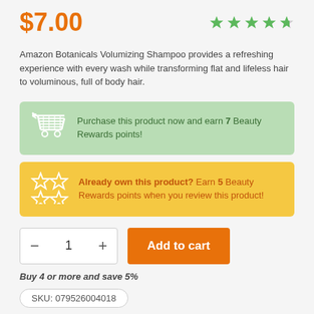$7.00
Amazon Botanicals Volumizing Shampoo provides a refreshing experience with every wash while transforming flat and lifeless hair to voluminous, full of body hair.
Purchase this product now and earn 7 Beauty Rewards points!
Already own this product? Earn 5 Beauty Rewards points when you review this product!
Buy 4 or more and save 5%
SKU: 079526004018